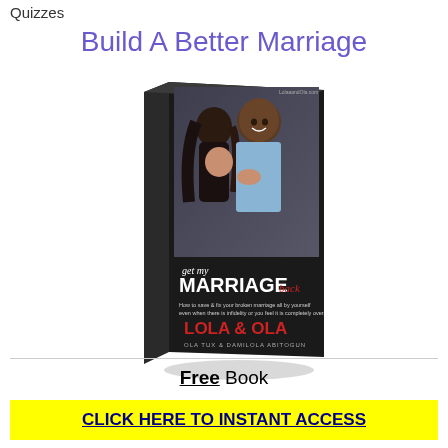Quizzes
Build A Better Marriage
[Figure (illustration): Book cover of 'Get My Marriage Back' by Lola & Ola (Ola Tux & Damilola Abitogun). Shows a couple embracing on the cover with text: get my MARRIAGE back. How to save & fix your broken marriage all by yourself even when there is infidelity or you feel it is completely over. LOLA & OLA. OLA TUX & DAMILOLA ABITOGUN.]
Free Book
CLICK HERE TO INSTANT ACCESS